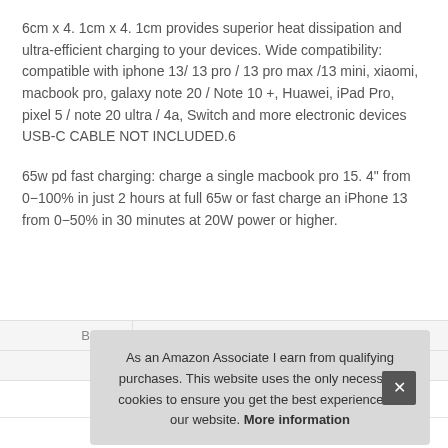6cm x 4. 1cm x 4. 1cm provides superior heat dissipation and ultra-efficient charging to your devices. Wide compatibility: compatible with iphone 13/ 13 pro / 13 pro max /13 mini, xiaomi, macbook pro, galaxy note 20 / Note 10 +, Huawei, iPad Pro, pixel 5 / note 20 ultra / 4a, Switch and more electronic devices USB-C CABLE NOT INCLUDED.6
65w pd fast charging: charge a single macbook pro 15. 4" from 0−100% in just 2 hours at full 65w or fast charge an iPhone 13 from 0−50% in 30 minutes at 20W power or higher.
|  |  |
| --- | --- |
| Brand | Haniz |
| Ma |  |
As an Amazon Associate I earn from qualifying purchases. This website uses the only necessary cookies to ensure you get the best experience on our website. More information
More information